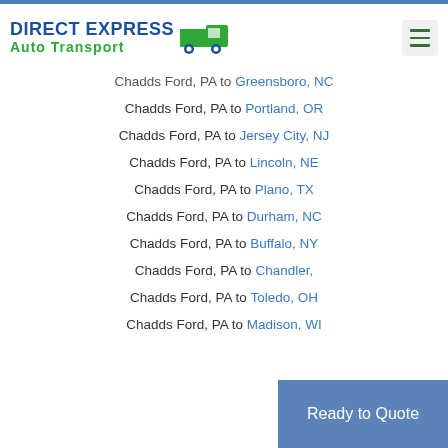DIRECT EXPRESS Auto Transport
Chadds Ford, PA to Greensboro, NC
Chadds Ford, PA to Portland, OR
Chadds Ford, PA to Jersey City, NJ
Chadds Ford, PA to Lincoln, NE
Chadds Ford, PA to Plano, TX
Chadds Ford, PA to Durham, NC
Chadds Ford, PA to Buffalo, NY
Chadds Ford, PA to Chandler,
Chadds Ford, PA to Toledo, OH
Chadds Ford, PA to Madison, WI
Ready to Quote